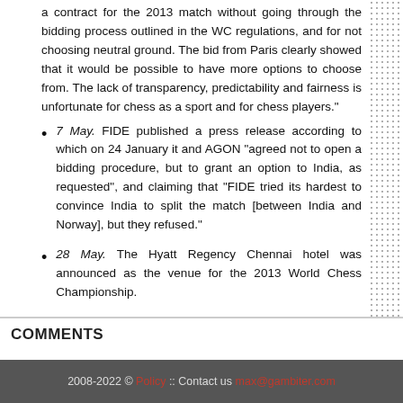a contract for the 2013 match without going through the bidding process outlined in the WC regulations, and for not choosing neutral ground. The bid from Paris clearly showed that it would be possible to have more options to choose from. The lack of transparency, predictability and fairness is unfortunate for chess as a sport and for chess players."
7 May. FIDE published a press release according to which on 24 January it and AGON "agreed not to open a bidding procedure, but to grant an option to India, as requested", and claiming that "FIDE tried its hardest to convince India to split the match [between India and Norway], but they refused."
28 May. The Hyatt Regency Chennai hotel was announced as the venue for the 2013 World Chess Championship.
COMMENTS
2008-2022 © Policy :: Contact us max@gambiter.com